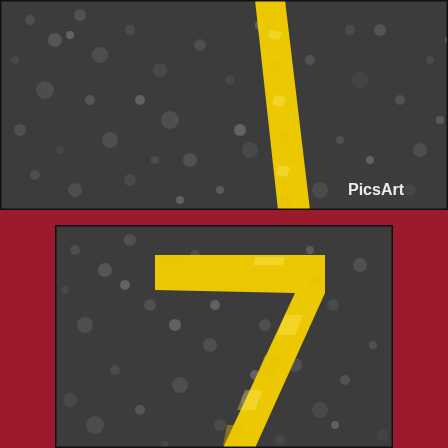[Figure (photo): Close-up photograph of dark asphalt pavement with a diagonal yellow painted stripe/number '1' visible. PicsArt watermark in bottom right corner.]
[Figure (photo): Close-up zoomed-in photograph of dark asphalt pavement showing a yellow painted number '7' prominently displayed.]